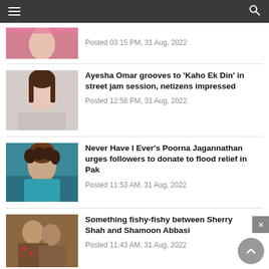Navigation bar with menu and search
Posted 03:15 PM, 31 Aug, 2022
Ayesha Omar grooves to 'Kaho Ek Din' in street jam session, netizens impressed
Posted 12:58 PM, 31 Aug, 2022
Never Have I Ever's Poorna Jagannathan urges followers to donate to flood relief in Pak
Posted 11:53 AM, 31 Aug, 2022
Something fishy-fishy between Sherry Shah and Shamoon Abbasi
Posted 11:43 AM, 31 Aug, 2022